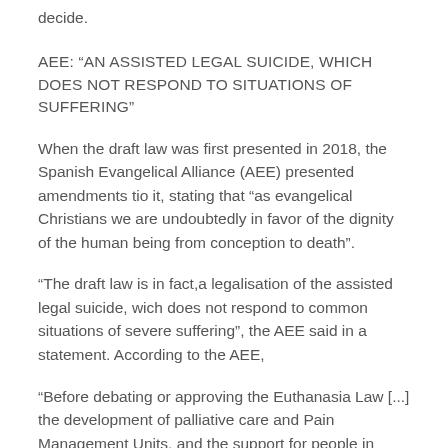decide.
AEE: “AN ASSISTED LEGAL SUICIDE, WHICH DOES NOT RESPOND TO SITUATIONS OF SUFFERING”
When the draft law was first presented in 2018, the Spanish Evangelical Alliance (AEE) presented amendments tio it, stating that “as evangelical Christians we are undoubtedly in favor of the dignity of the human being from conception to death”.
“The draft law is in fact,a legalisation of the assisted legal suicide, wich does not respond to common situations of severe suffering”, the AEE said in a statement. According to the AEE,
“Before debating or approving the Euthanasia Law [...] the development of palliative care and Pain Management Units, and the support for people in dependence are vital”.